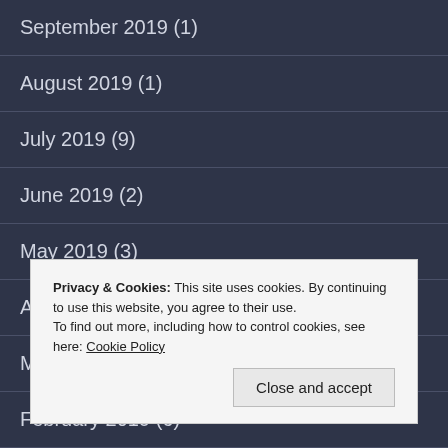September 2019 (1)
August 2019 (1)
July 2019 (9)
June 2019 (2)
May 2019 (3)
April 2019 (8)
March 2019 (1)
February 2019 (6)
January 2019 (9)
Privacy & Cookies: This site uses cookies. By continuing to use this website, you agree to their use.
To find out more, including how to control cookies, see here: Cookie Policy
Close and accept